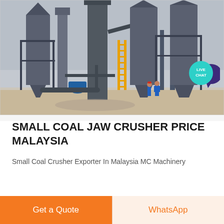[Figure (photo): Industrial coal crusher / mill facility with large cylindrical tanks, silos, steel framework structures, pipes, a yellow ladder, and two workers in hard hats visible at ground level. Outdoor industrial plant setting.]
SMALL COAL JAW CRUSHER PRICE MALAYSIA
Small Coal Crusher Exporter In Malaysia MC Machinery